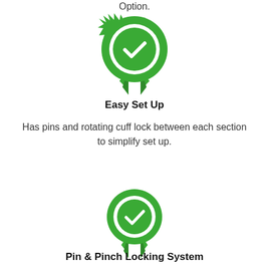Option.
[Figure (illustration): Green badge/ribbon award icon with a checkmark inside a circle]
Easy Set Up
Has pins and rotating cuff lock between each section to simplify set up.
[Figure (illustration): Green badge/ribbon award icon with a checkmark inside a circle]
Pin & Pinch Locking System